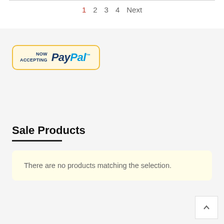1  2  3  4  Next
[Figure (logo): PayPal logo badge with 'NOW ACCEPTING PayPal™' text in a rounded yellow-bordered box]
Sale Products
There are no products matching the selection.